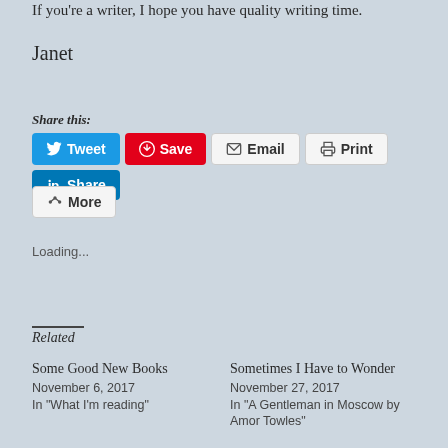If you're a writer, I hope you have quality writing time.
Janet
Share this:
[Figure (infographic): Social share buttons: Tweet (blue), Save (red), Email (grey), Print (grey), Share/LinkedIn (dark blue), More (grey)]
Loading...
Related
Some Good New Books
November 6, 2017
In "What I'm reading"
Sometimes I Have to Wonder
November 27, 2017
In "A Gentleman in Moscow by Amor Towles"